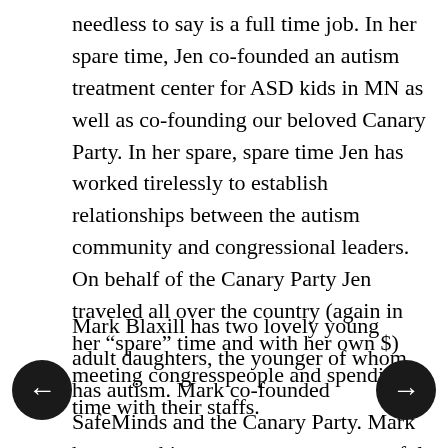needless to say is a full time job. In her spare time, Jen co-founded an autism treatment center for ASD kids in MN as well as co-founding our beloved Canary Party. In her spare, spare time Jen has worked tirelessly to establish relationships between the autism community and congressional leaders. On behalf of the Canary Party Jen traveled all over the country (again in her “spare” time and with her own $) meeting congresspeople and spending time with their staffs.
Mark Blaxill has two lovely young adult daughters, the younger of whom has autism. Mark co-founded SafeMinds and the Canary Party. Mark has spent his career as a very successful business management consultant. In his “spare” time Mark traveled the country